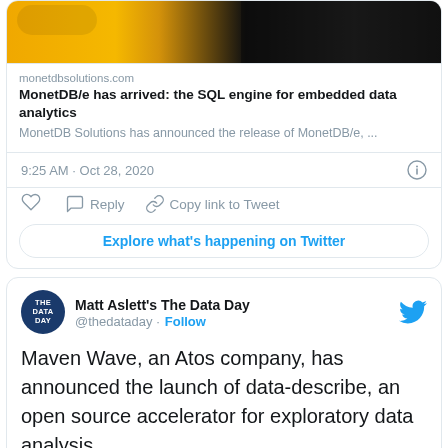[Figure (screenshot): Top portion of a tweet showing a yellow taxi car photo]
monetdbsolutions.com
MonetDB/e has arrived: the SQL engine for embedded data analytics
MonetDB Solutions has announced the release of MonetDB/e, ...
9:25 AM · Oct 28, 2020
Reply
Copy link to Tweet
Explore what's happening on Twitter
Matt Aslett's The Data Day
@thedataday · Follow
Maven Wave, an Atos company, has announced the launch of data-describe, an open source accelerator for exploratory data analysis
mavenwave.com